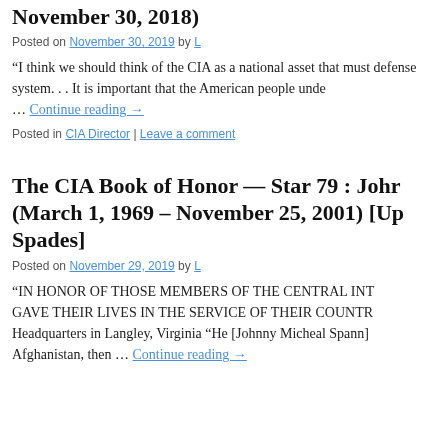November 30, 2018)
Posted on November 30, 2019 by L
“I think we should think of the CIA as a national asset that must defense system. . . It is important that the American people unde… Continue reading →
Posted in CIA Director | Leave a comment
The CIA Book of Honor — Star 79 : Johnn (March 1, 1969 – November 25, 2001) [Up Spades]
Posted on November 29, 2019 by L
“IN HONOR OF THOSE MEMBERS OF THE CENTRAL INT GAVE THEIR LIVES IN THE SERVICE OF THEIR COUNTR Headquarters in Langley, Virginia “He [Johnny Micheal Spann] Afghanistan, then … Continue reading →